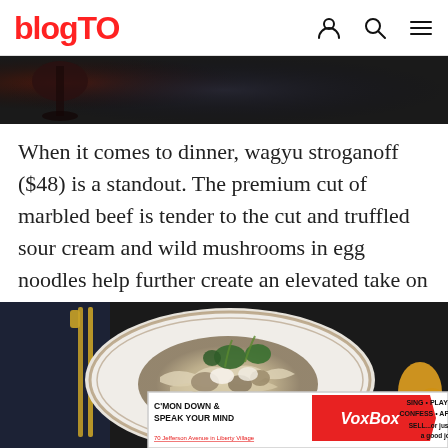blogTO
[Figure (photo): Dark top image strip showing partial view of a dark background with what appears to be a wine glass or dark beverage]
When it comes to dinner, wagyu stroganoff ($48) is a standout. The premium cut of marbled beef is tender to the cut and truffled sour cream and wild mushrooms in egg noodles help further create an elevated take on a familiar comfort dish.
[Figure (photo): Food photo showing a white plate with gold rim containing what appears to be stroganoff with egg noodles, mushrooms, topped with fresh herbs and micro greens. Gold cutlery visible on the left side. An advertisement overlay at the bottom shows VoxBox ad.]